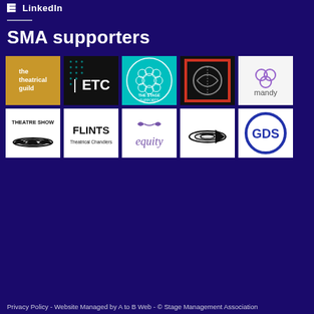LinkedIn
SMA supporters
[Figure (logo): Grid of 10 SMA supporter logos: The Theatrical Guild, ETC, The Stage Supports, a crosshatch/circle logo, Mandy, Theatre Show, Flints Theatrical Chandlers, Equity, arrow/audio logo, GDS]
Privacy Policy - Website Managed by A to B Web - © Stage Management Association